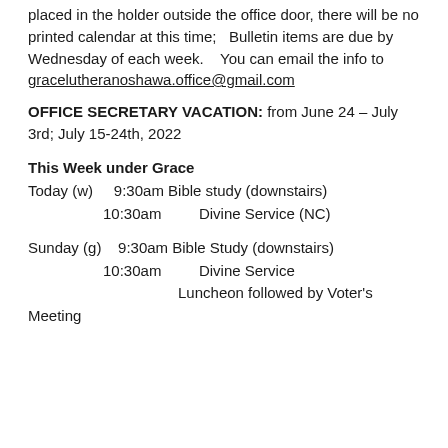placed in the holder outside the office door, there will be no printed calendar at this time;   Bulletin items are due by Wednesday of each week.    You can email the info to gracelutheranoshawa.office@gmail.com
OFFICE SECRETARY VACATION: from June 24 – July 3rd; July 15-24th, 2022
This Week under Grace
Today (w)     9:30am Bible study (downstairs)
                  10:30am           Divine Service (NC)
Sunday (g)    9:30am Bible Study (downstairs)
                  10:30am           Divine Service
                                        Luncheon followed by Voter's Meeting